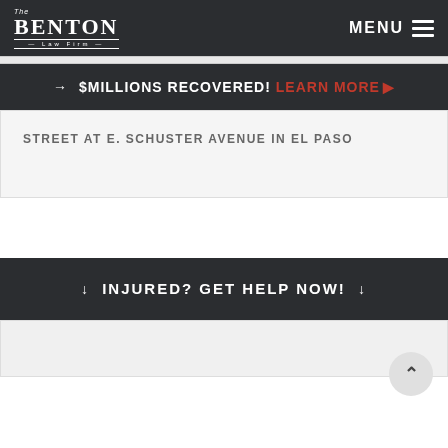THE BENTON LAW FIRM | MENU
→ $MILLIONS RECOVERED! LEARN MORE ▶
STREET AT E. SCHUSTER AVENUE IN EL PASO
↓ INJURED? GET HELP NOW! ↓